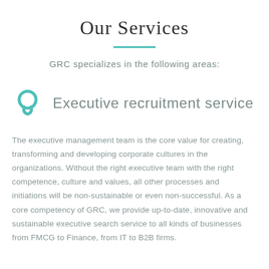Our Services
GRC specializes in the following areas:
Executive recruitment service
The executive management team is the core value for creating, transforming and developing corporate cultures in the organizations. Without the right executive team with the right competence, culture and values, all other processes and initiations will be non-sustainable or even non-successful. As a core competency of GRC, we provide up-to-date, innovative and sustainable executive search service to all kinds of businesses from FMCG to Finance, from IT to B2B firms.